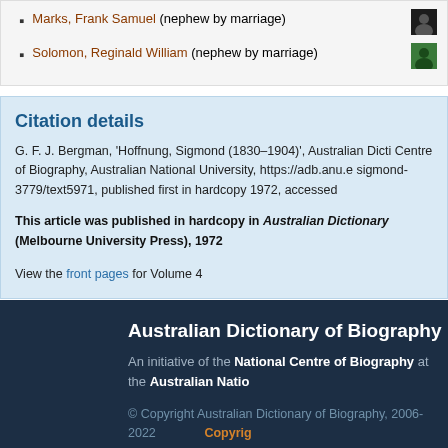Marks, Frank Samuel (nephew by marriage)
Solomon, Reginald William (nephew by marriage)
Citation details
G. F. J. Bergman, 'Hoffnung, Sigmond (1830–1904)', Australian Dictionary of Biography, National Centre of Biography, Australian National University, https://adb.anu.edu.au/biography/hoffnung-sigmond-3779/text5971, published first in hardcopy 1972, accessed
This article was published in hardcopy in Australian Dictionary of Biography (Melbourne University Press), 1972
View the front pages for Volume 4
Australian Dictionary of Biography
An initiative of the National Centre of Biography at the Australian National
© Copyright Australian Dictionary of Biography, 2006-2022